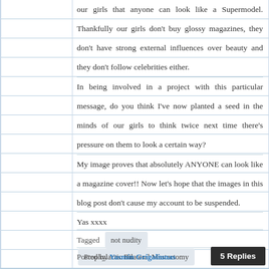our girls that anyone can look like a Supermodel. Thankfully our girls don't buy glossy magazines, they don't have strong external influences over beauty and they don't follow celebrities either.
In being involved in a project with this particular message, do you think I've now planted a seed in the minds of our girls to think twice next time there's pressure on them to look a certain way?
My image proves that absolutely ANYONE can look like a magazine cover!! Now let's hope that the images in this blog post don't cause my account to be suspended.
Yas xxxx
Tagged  not nudity  Prophylactic Bilateral Mastectomy
Posted by Yasmin Grigaliunas
5 Replies